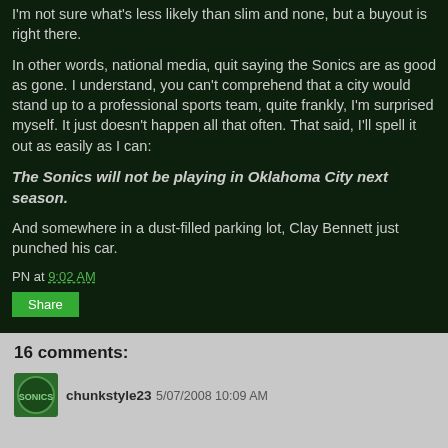I'm not sure what's less likely than slim and none, but a buyout is right there.
In other words, national media, quit saying the Sonics are as good as gone. I understand, you can't comprehend that a city would stand up to a professional sports team, quite frankly, I'm surprised myself. It just doesn't happen all that often. That said, I'll spell it out as easily as I can:
The Sonics will not be playing in Oklahoma City next season.
And somewhere in a dust-filled parking lot, Clay Bennett just punched his car.
PN at 9:02 AM
Share
16 comments:
chunkstyle23 5/07/2008 10:09 AM